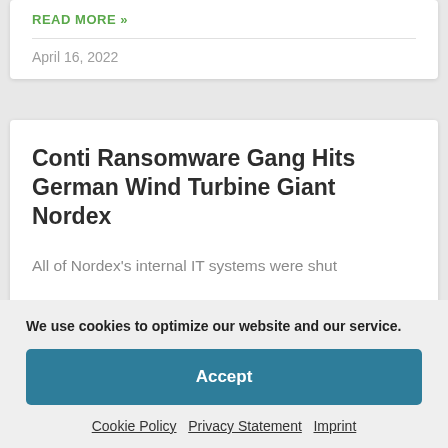READ MORE »
April 16, 2022
Conti Ransomware Gang Hits German Wind Turbine Giant Nordex
All of Nordex's internal IT systems were shut
We use cookies to optimize our website and our service.
Accept
Cookie Policy   Privacy Statement   Imprint